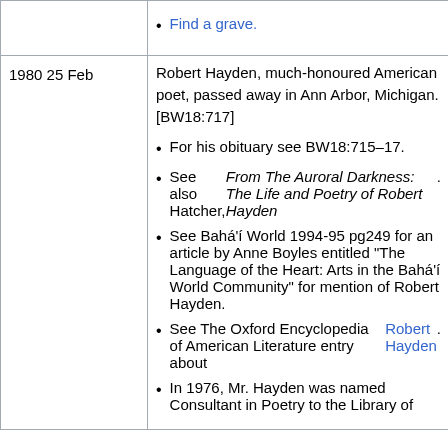| Date | Description | Ref |
| --- | --- | --- |
|  | Find a grave. |  |
| 1980 25 Feb | Robert Hayden, much-honoured American poet, passed away in Ann Arbor, Michigan. [BW18:717]
• For his obituary see BW18:715–17.
• See also Hatcher, From The Auroral Darkness: The Life and Poetry of Robert Hayden.
• See Bahá'í World 1994-95 pg249 for an article by Anne Boyles entitled "The Language of the Heart: Arts in the Bahá'í World Community" for mention of Robert Hayden.
• See The Oxford Encyclopedia of American Literature entry about Robert Hayden.
• In 1976, Mr. Hayden was named Consultant in Poetry to the Library of | A |